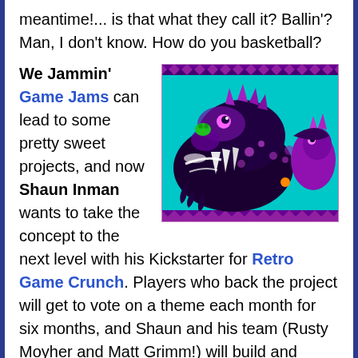meantime!... is that what they call it? Ballin'? Man, I don't know. How do you basketball?
We Jammin' Game Jams can lead to some pretty sweet projects, and now Shaun Inman wants to take the concept to the next level with his Kickstarter for Retro Game Crunch. Players who back the project will get to vote on a theme each month for six months, and Shaun and his team (Rusty Moyher and Matt Grimm!) will build and release each game in three days, then spend the next thirty polishing and developing it further based on player feedback. It sounds like an interesting experiment to say the least, and with some serious talent backing it up, this is definitely one retro train to
[Figure (illustration): Pixel art retro game screenshot showing a large purple/black dragon-like creature with glowing teeth and claws on a teal background, with smaller purple creature at right edge.]